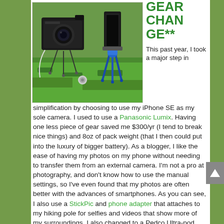[Figure (photo): Outdoor photo showing a Panasonic Lumix camera on a small tripod on the left and a smartphone mounted on a blue Pedco Ultra-pod Tripod on the right, both sitting on green grass.]
GEAR CHANGE**
This past year, I took a major step in simplification by choosing to use my iPhone SE as my sole camera. I used to use a Panasonic Lumix. Having one less piece of gear saved me $300/yr (I tend to break nice things) and 8oz of pack weight (that I then could put into the luxury of bigger battery). As a blogger, I like the ease of having my photos on my phone without needing to transfer them from an external camera. I'm not a pro at photography, and don't know how to use the manual settings, so I've even found that my photos are often better with the advances of smartphones. As you can see, I also use a StickPic and phone adapter that attaches to my hiking pole for selfies and videos that show more of my surroundings. I also changed to a Pedco Ultra-pod Tripod that is easy to manipulate and also attaches to things with